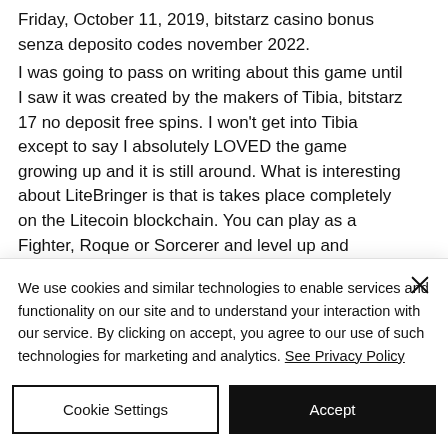Friday, October 11, 2019, bitstarz casino bonus senza deposito codes november 2022.
I was going to pass on writing about this game until I saw it was created by the makers of Tibia, bitstarz 17 no deposit free spins. I won't get into Tibia except to say I absolutely LOVED the game growing up and it is still around. What is interesting about LiteBringer is that is takes place completely on the Litecoin blockchain. You can play as a Fighter, Roque or Sorcerer and level up and earn new weapons. You send your character…
We use cookies and similar technologies to enable services and functionality on our site and to understand your interaction with our service. By clicking on accept, you agree to our use of such technologies for marketing and analytics. See Privacy Policy